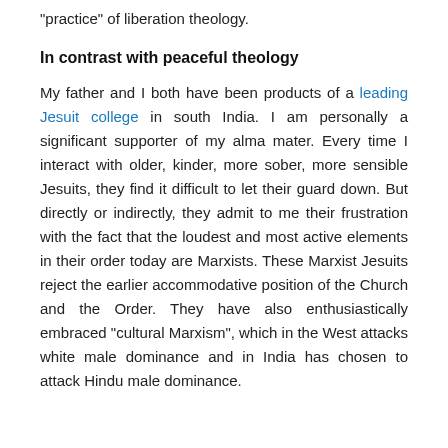“practice” of liberation theology.
In contrast with peaceful theology
My father and I both have been products of a leading Jesuit college in south India. I am personally a significant supporter of my alma mater. Every time I interact with older, kinder, more sober, more sensible Jesuits, they find it difficult to let their guard down. But directly or indirectly, they admit to me their frustration with the fact that the loudest and most active elements in their order today are Marxists. These Marxist Jesuits reject the earlier accommodative position of the Church and the Order. They have also enthusiastically embraced “cultural Marxism”, which in the West attacks white male dominance and in India has chosen to attack Hindu male dominance.